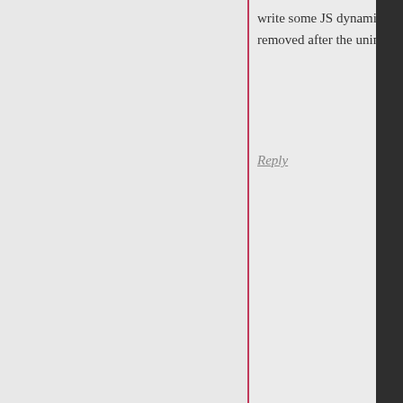write some JS dynami removed after the unin
Reply
[Figure (photo): Avatar photo of malihu, a bearded man in grayscale, circular crop]
malihu
Posted on Febru
No. It doesn't h
Your menu links handled or add
In your theme's (http://www.drb content/themes et_pb_smooth_ "a[href*=#]:not( selector) and a
You think it was created menu li